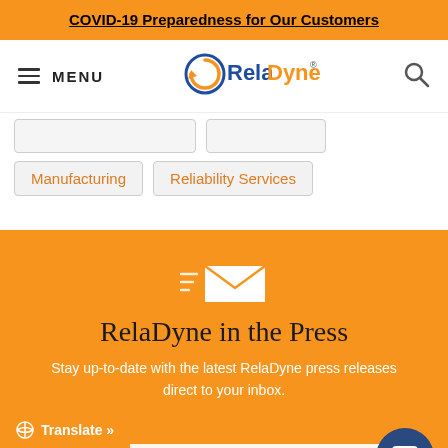COVID-19 Preparedness for Our Customers
[Figure (logo): RelaDyne logo with circular arrow icon in blue and orange, menu hamburger icon and search icon]
Manufacturing
Reliability Services
[Figure (illustration): Email/newsletter icon: envelope with motion lines on orange background]
RelaDyne in the Press
Stay up-to-date with the latest RelaDyne press releases direct to your inbox.
Name
Translate »